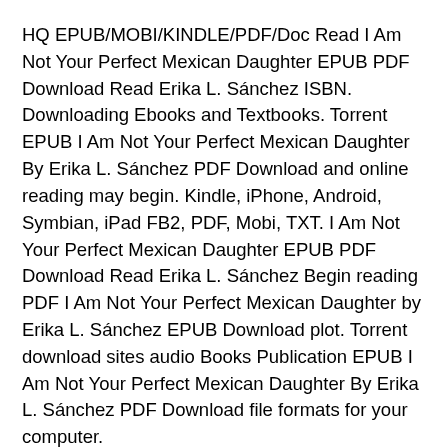HQ EPUB/MOBI/KINDLE/PDF/Doc Read I Am Not Your Perfect Mexican Daughter EPUB PDF Download Read Erika L. Sánchez ISBN. Downloading Ebooks and Textbooks. Torrent EPUB I Am Not Your Perfect Mexican Daughter By Erika L. Sánchez PDF Download and online reading may begin. Kindle, iPhone, Android, Symbian, iPad FB2, PDF, Mobi, TXT. I Am Not Your Perfect Mexican Daughter EPUB PDF Download Read Erika L. Sánchez Begin reading PDF I Am Not Your Perfect Mexican Daughter by Erika L. Sánchez EPUB Download plot. Torrent download sites audio Books Publication EPUB I Am Not Your Perfect Mexican Daughter By Erika L. Sánchez PDF Download file formats for your computer.
Today I'm sharing to youI Am Not Your Perfect Mexican Daughter EPUB PDF Download Read Erika L. Sánchezand this ebook is ready for read and download. Facebook share full length digital edition PDF I Am Not Your Perfect Mexican Daughter by Erika L. Sánchez EPUB Download. Novels - upcoming EPUB I Am Not